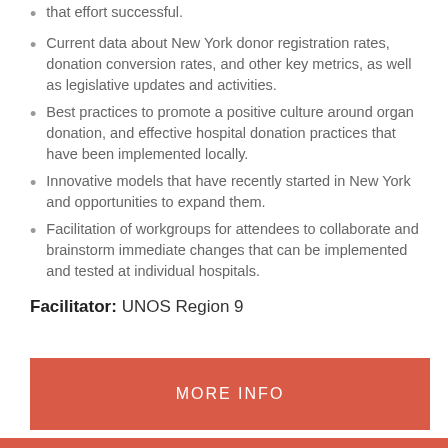that effort successful.
Current data about New York donor registration rates, donation conversion rates, and other key metrics, as well as legislative updates and activities.
Best practices to promote a positive culture around organ donation, and effective hospital donation practices that have been implemented locally.
Innovative models that have recently started in New York and opportunities to expand them.
Facilitation of workgroups for attendees to collaborate and brainstorm immediate changes that can be implemented and tested at individual hospitals.
Facilitator: UNOS Region 9
MORE INFO